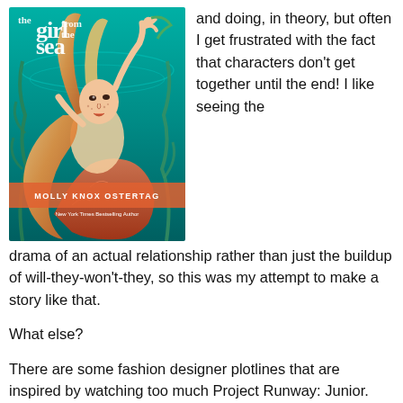[Figure (illustration): Book cover of 'Girl from the Sea' by Molly Knox Ostertag, New York Times Bestselling Author. Illustrated cover showing a mermaid with long flowing red-orange hair underwater against a teal/turquoise background with seaweed.]
and doing, in theory, but often I get frustrated with the fact that characters don't get together until the end! I like seeing the drama of an actual relationship rather than just the buildup of will-they-won't-they, so this was my attempt to make a story like that.
What else?
There are some fashion designer plotlines that are inspired by watching too much Project Runway: Junior.